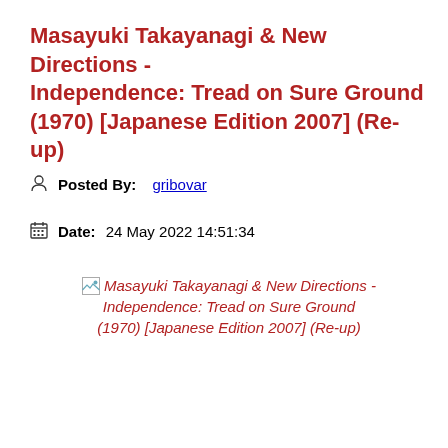Masayuki Takayanagi & New Directions - Independence: Tread on Sure Ground (1970) [Japanese Edition 2007] (Re-up)
Posted By: gribovar
Date: 24 May 2022 14:51:34
[Figure (other): Broken/placeholder image icon followed by italic red caption text: Masayuki Takayanagi & New Directions - Independence: Tread on Sure Ground (1970) [Japanese Edition 2007] (Re-up)]